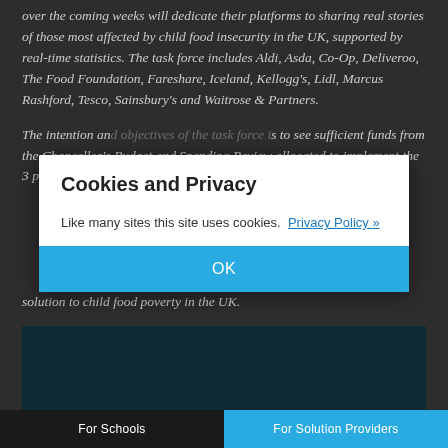over the coming weeks will dedicate their platforms to sharing real stories of those most affected by child food insecurity in the UK, supported by real-time statistics. The task force includes Aldi, Asda, Co-Op, Deliveroo, The Food Foundation, Fareshare, Iceland, Kellogg's, Lidl, Marcus Rashford, Tesco, Sainsbury's and Waitrose & Partners.
The intention and objectives of the task force is to see sufficient funds from the Chancellor's Budget and Spending Review allocated to implement the 3 policy solution to child food poverty in the UK.
Cookies and Privacy
Like many sites this site uses cookies. Privacy Policy »
OK
[Figure (screenshot): Dark teal/navy video embed block]
For Schools | For Solution Providers